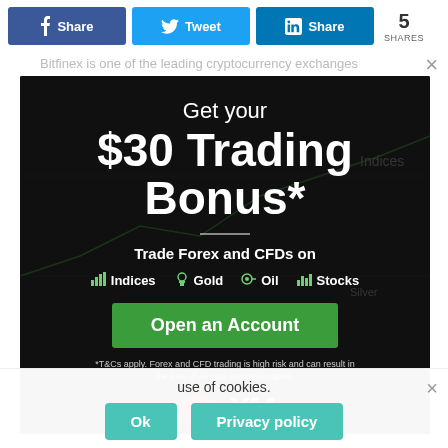[Figure (screenshot): Social share bar with Facebook, Twitter, LinkedIn buttons and share count of 5]
Bitfinex is one of the leading cryptocurrency exchanges
[Figure (infographic): XM trading platform advertisement modal on dark background. Get your $30 Trading Bonus*. Trade Forex and CFDs on Indices, Gold, Oil, Stocks. Open an Account button. *T&Cs apply. Forex and CFD trading is high risk and can result in the loss of all your invested capital. XM logo.]
use of cookies.
Ok
Privacy policy